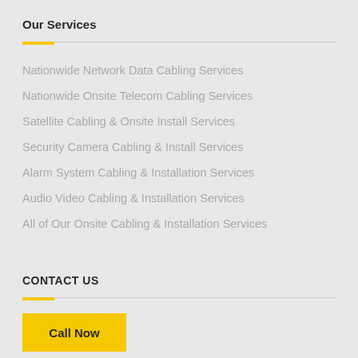Our Services
Nationwide Network Data Cabling Services
Nationwide Onsite Telecom Cabling Services
Satellite Cabling & Onsite Install Services
Security Camera Cabling & Install Services
Alarm System Cabling & Installation Services
Audio Video Cabling & Installation Services
All of Our Onsite Cabling & Installation Services
CONTACT US
Call Now